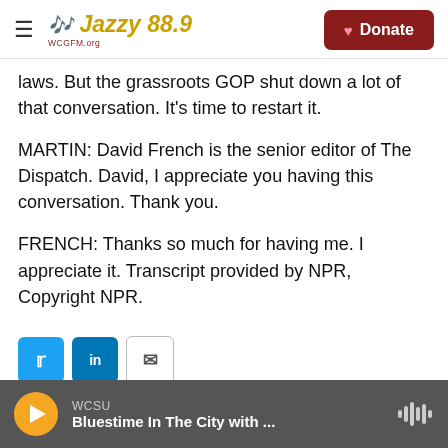Jazzy 88.9 | Donate
laws. But the grassroots GOP shut down a lot of that conversation. It's time to restart it.
MARTIN: David French is the senior editor of The Dispatch. David, I appreciate you having this conversation. Thank you.
FRENCH: Thanks so much for having me. I appreciate it. Transcript provided by NPR, Copyright NPR.
[Figure (other): Social sharing buttons: Twitter (blue), LinkedIn (blue), Email (white with border)]
WCSU | Bluestime In The City with ...